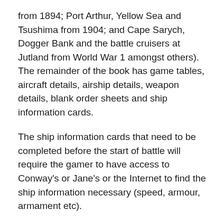from 1894; Port Arthur, Yellow Sea and Tsushima from 1904; and Cape Sarych, Dogger Bank and the battle cruisers at Jutland from World War 1 amongst others). The remainder of the book has game tables, aircraft details, airship details, weapon details, blank order sheets and ship information cards.
The ship information cards that need to be completed before the start of battle will require the gamer to have access to Conway's or Jane's or the Internet to find the ship information necessary (speed, armour, armament etc).
I played a little test battle on the floor the other night (I haven't got a wargames table here and double bed was not usable at the time) and the game played well. It was just a couple of pre-dreadnought battleships. It was harder to represent simultaneous movement by myself but it was easy